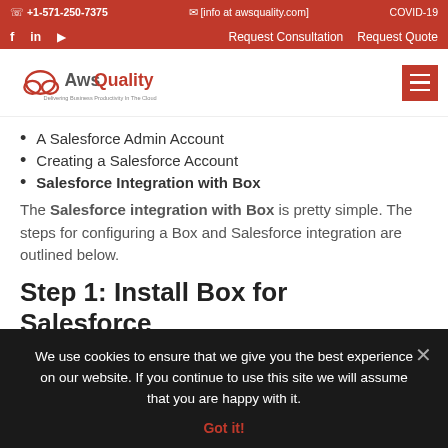+1-571-250-7375  [info at awsquality.com]  COVID-19  Request Consultation  Request Quote
[Figure (logo): AwsQuality logo — cloud icon with text 'AwsQuality' and tagline 'Delivering Business Productivity In The Cloud']
A Salesforce Admin Account
Creating a Salesforce Account
Salesforce Integration with Box
The Salesforce integration with Box is pretty simple. The steps for configuring a Box and Salesforce integration are outlined below.
Step 1: Install Box for Salesforce
We use cookies to ensure that we give you the best experience on our website. If you continue to use this site we will assume that you are happy with it.